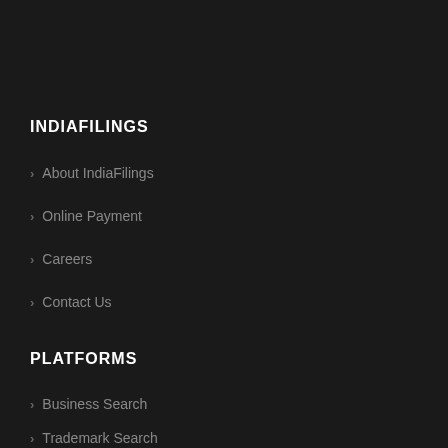INDIAFILINGS
About IndiaFilings
Online Payment
Careers
Contact Us
PLATFORMS
[Figure (screenshot): Live chat widget with headset operator photo. Shows 'We're Online!' heading, 'How may I help you today?' message, and green 'Chat now' button.]
Business Search
Trademark Search